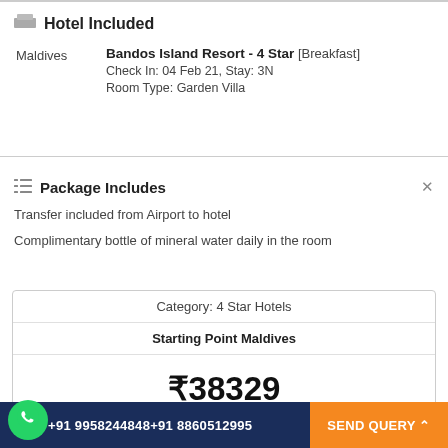Hotel Included
Maldives   Bandos Island Resort - 4 Star [Breakfast]
Check In: 04 Feb 21, Stay: 3N
Room Type: Garden Villa
Package Includes
Transfer included from Airport to hotel
Complimentary bottle of mineral water daily in the room
| Category: 4 Star Hotels |
| Starting Point Maldives |
| ₹38329 |
| (Price Per Person) |
| Min. 2 Adult(s) |
+91 9958244848+91 8860512995   SEND QUERY